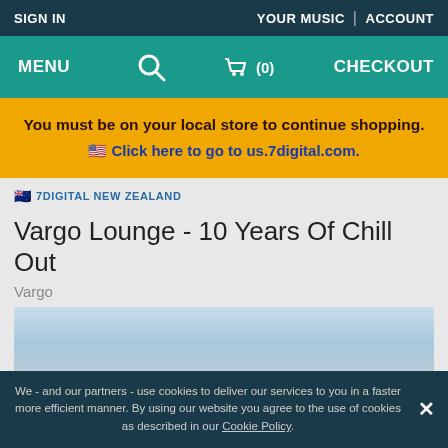SIGN IN | YOUR MUSIC | ACCOUNT
MENU | Search | Cart (0) | CHECKOUT
You must be on your local store to continue shopping. Click here to go to us.7digital.com.
🇳🇿 7DIGITAL NEW ZEALAND
Vargo Lounge - 10 Years Of Chill Out
Vargo
[Figure (photo): Album cover image with blue sky gradient]
We - and our partners - use cookies to deliver our services to you in a faster more efficient manner. By using our website you agree to the use of cookies as described in our Cookie Policy.